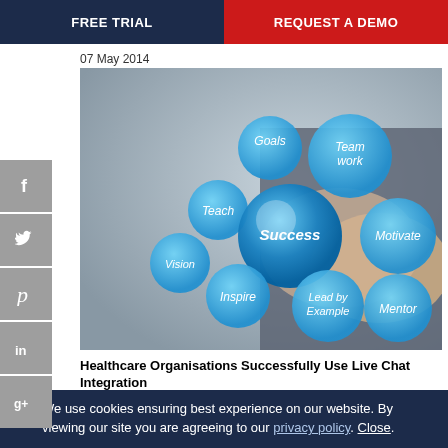FREE TRIAL | REQUEST A DEMO
07 May 2014
[Figure (photo): Business person holding out hand with blue circular bubbles showing success-related words: Goals, Team work, Motivate, Mentor, Lead by Example, Inspire, Vision, Teach, Success]
Healthcare Organisations Successfully Use Live Chat Integration
21 March 2017
We use cookies ensuring best experience on our website. By viewing our site you are agreeing to our privacy policy. Close.